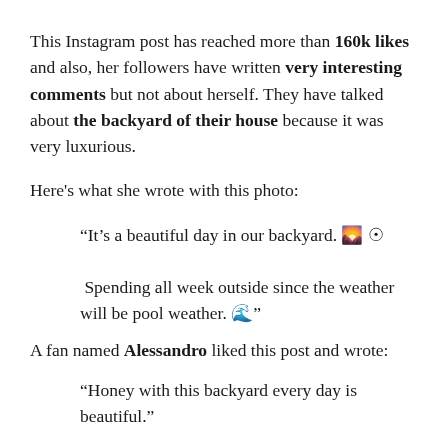This Instagram post has reached more than 160k likes and also, her followers have written very interesting comments but not about herself. They have talked about the backyard of their house because it was very luxurious.
Here’s what she wrote with this photo:
“It’s a beautiful day in our backyard. 🌄 ☉
 Spending all week outside since the weather will be pool weather. 🌊”
A fan named Alessandro liked this post and wrote:
“Honey with this backyard every day is beautiful.”